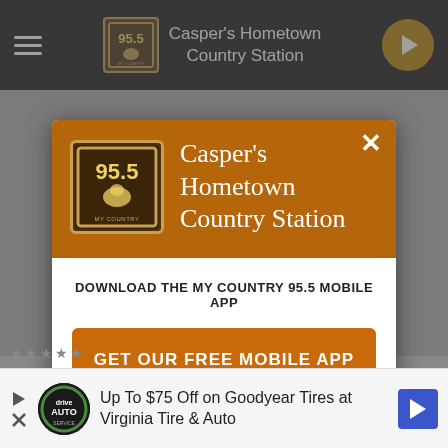[Figure (screenshot): Website header/navigation bar for My Country 95.5 radio station with hamburger menu, station logo and name 'Casper's Hometown Country Station', and a play button]
[Figure (screenshot): Modal popup overlay for My Country 95.5 radio station app download. Contains station logo and name 'Casper's Hometown Country Station', close button (X), text 'DOWNLOAD THE MY COUNTRY 95.5 MOBILE APP', an orange button 'GET OUR FREE MOBILE APP', and 'Also listen on: amazon alexa' with Alexa icon]
[Figure (screenshot): Bottom advertisement banner: 'Up To $75 Off on Goodyear Tires at Virginia Tire & Auto' with Drive Auto logo circle, play/X controls, and blue navigation arrow icon]